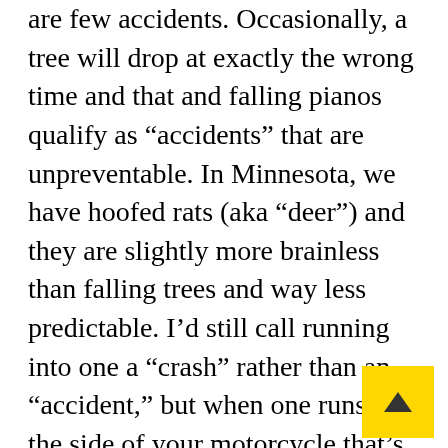are few accidents. Occasionally, a tree will drop at exactly the wrong time and that and falling pianos qualify as “accidents” that are unpreventable. In Minnesota, we have hoofed rats (aka “deer”) and they are slightly more brainless than falling trees and way less predictable. I’d still call running into one a “crash” rather than an “accident,” but when one runs into the side of your motorcycle that’s pretty unavoidable.

Tires, brakes, general maintenan... and riding skills are all critical...